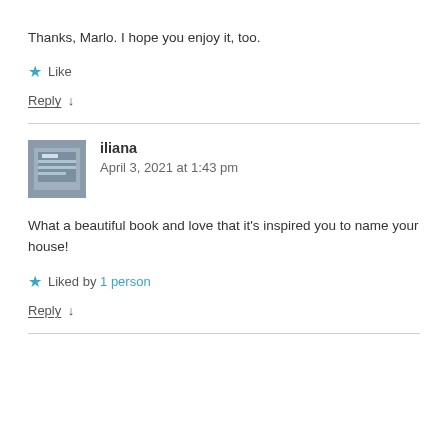Thanks, Marlo. I hope you enjoy it, too.
★ Like
Reply ↓
iliana
April 3, 2021 at 1:43 pm
What a beautiful book and love that it's inspired you to name your house!
★ Liked by 1 person
Reply ↓